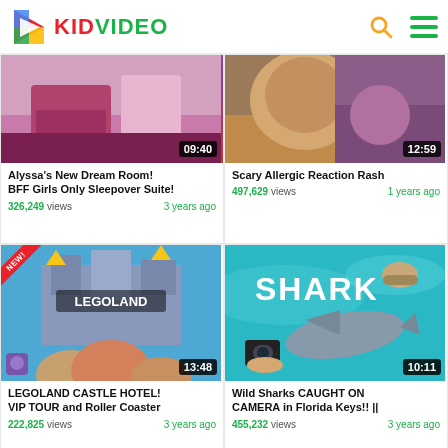KIDVIDEO
[Figure (screenshot): Video thumbnail - pink/purple room with sofa, duration 09:40]
Alyssa's New Dream Room! BFF Girls Only Sleepover Suite!
326,249 views   3 years ago
[Figure (screenshot): Video thumbnail - child with rash, duration 12:59]
Scary Allergic Reaction Rash
497,629 views   1 years ago
[Figure (screenshot): Video thumbnail - LEGOLAND Castle, kids and woman, NEW badge, duration 13:48]
LEGOLAND CASTLE HOTEL! VIP TOUR and Roller Coaster
222,825 views   3 years ago
[Figure (screenshot): Video thumbnail - SHARK text, man swimming with shark underwater, duration 10:11]
Wild Sharks CAUGHT ON CAMERA in Florida Keys!! ||
455,232 views   3 years ago
[Figure (screenshot): Video thumbnail - kids with owl toy, colorful]
[Figure (screenshot): Video thumbnail - Toy Store text with bubbles and giraffe]